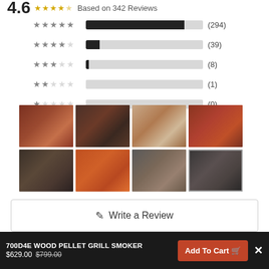4.6  Based on 342 Reviews
[Figure (bar-chart): Rating distribution]
[Figure (photo): Grid of 8 food photos showing grilled and smoked meats on a pellet grill]
Write a Review
Ask a Question
700D4E WOOD PELLET GRILL SMOKER  $629.00  $799.00  Add To Cart